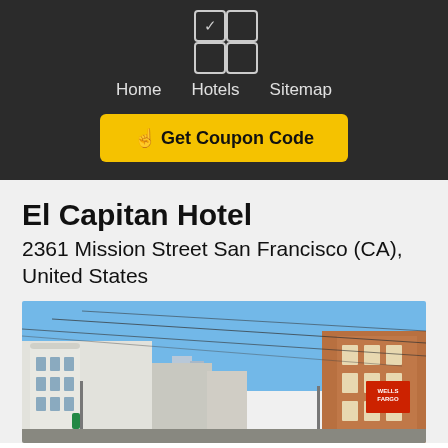Home  Hotels  Sitemap
Get Coupon Code
El Capitan Hotel
2361 Mission Street San Francisco (CA), United States
[Figure (photo): Street-level photo of Mission Street in San Francisco showing buildings including a white ornate building on the left and a brick building on the right with a Wells Fargo sign, power lines crossing overhead against a blue sky.]